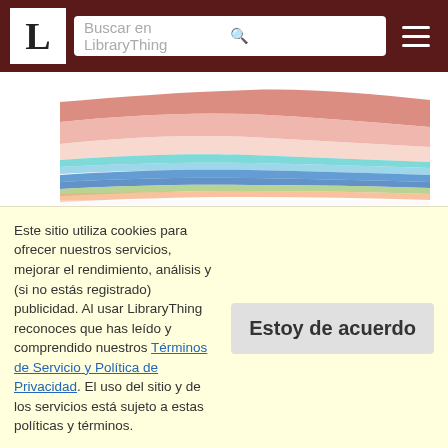LibraryThing — Buscar en LibraryThing
[Figure (area-chart): Area chart showing reading trends over time (2015–2020) for various Spanish-language book titles. The chart shows stacked/overlapping colored areas for multiple titles. The y-axis shows 0.00% at the bottom. X-axis shows years 2015 and 2020.]
1. Muerte en la vicar&iacute;a
3. Un Cadaver En La Biblioteca
4. El caso de los anónimos
5. Un asesinato anunciado
6. El truco de los espejos
7. Un puñado de centeno
8. El Tren de las 4,50
9. El espejo se rai&oacute; de lado a
Este sitio utiliza cookies para ofrecer nuestros servicios, mejorar el rendimiento, análisis y (si no estás registrado) publicidad. Al usar LibraryThing reconoces que has leído y comprendido nuestros Términos de Servicio y Política de Privacidad. El uso del sitio y de los servicios está sujeto a estas políticas y términos.